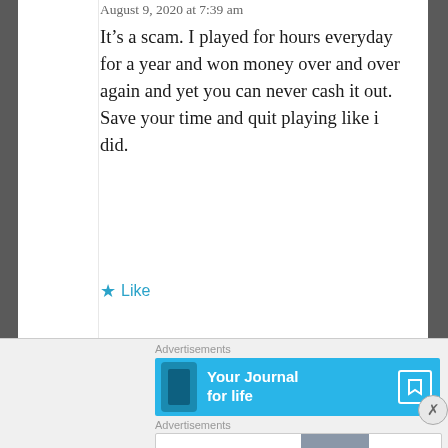August 9, 2020 at 7:39 am
It’s a scam. I played for hours everyday for a year and won money over and over again and yet you can never cash it out. Save your time and quit playing like i did.
★ Like
Advertisements
[Figure (other): Advertisement banner: 'Your Journal for life' with phone image and bookmark icon on blue background]
Advertisements
[Figure (other): Bloomingdale's advertisement: 'View Today’s Top Deals!' with woman in hat image and 'SHOP NOW >' button]